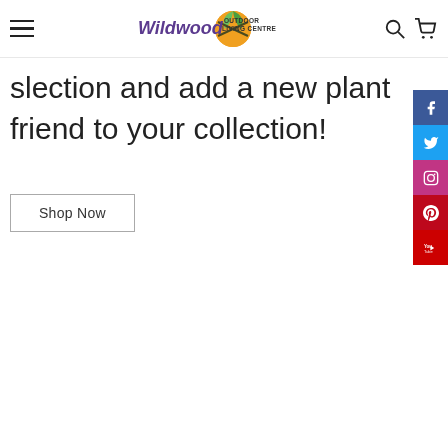Wildwood Outdoor Living Centre
slection and add a new plant friend to your collection!
Shop Now